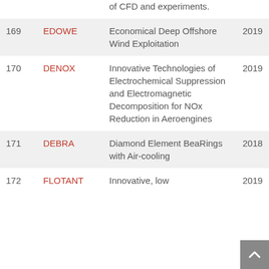| # | Acronym | Full Name | Year |
| --- | --- | --- | --- |
|  |  | of CFD and experiments. |  |
| 169 | EDOWE | Economical Deep Offshore Wind Exploitation | 2019 |
| 170 | DENOX | Innovative Technologies of Electrochemical Suppression and Electromagnetic Decomposition for NOx Reduction in Aeroengines | 2019 |
| 171 | DEBRA | Diamond Element BeaRings with Air-cooling | 2018 |
| 172 | FLOTANT | Innovative, low | 2019 |